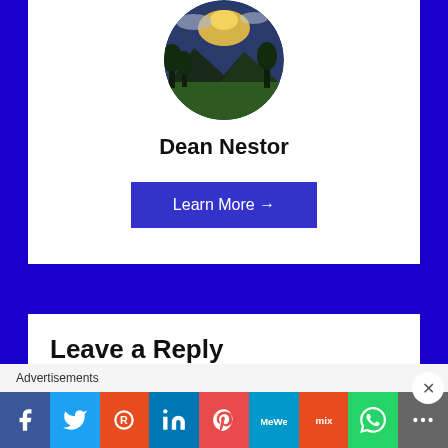[Figure (photo): Circular avatar photo showing a landscape with mountains, trees, and dramatic sky at sunset]
Dean Nestor
Learn More →
Leave a Reply
Advertisements
Search, browse, and email with more privacy